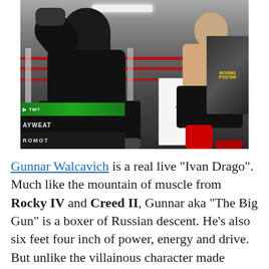[Figure (photo): Two boxers sparring in a boxing gym ring. One fighter in black clothing on the left throws a punch, the other shirtless fighter in black shorts with red boxing boots on the right. Mayweather Promotions signage visible in the background along with a TMT boxing bag stand.]
Gunnar Walcavich is a real live “Ivan Drago”. Much like the mountain of muscle from Rocky IV and Creed II, Gunnar aka “The Big Gun” is a boxer of Russian descent. He’s also six feet four inch of power, energy and drive. But unlike the villainous character made famous by actor